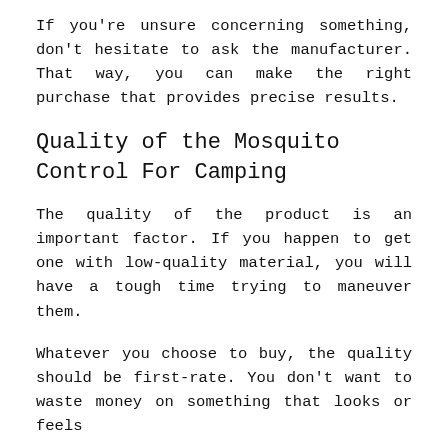If you're unsure concerning something, don't hesitate to ask the manufacturer. That way, you can make the right purchase that provides precise results.
Quality of the Mosquito Control For Camping
The quality of the product is an important factor. If you happen to get one with low-quality material, you will have a tough time trying to maneuver them.
Whatever you choose to buy, the quality should be first-rate. You don't want to waste money on something that looks or feels cheap and…